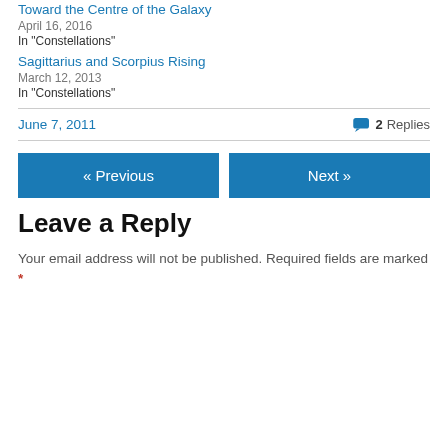Toward the Centre of the Galaxy
April 16, 2016
In "Constellations"
Sagittarius and Scorpius Rising
March 12, 2013
In "Constellations"
June 7, 2011
2 Replies
« Previous
Next »
Leave a Reply
Your email address will not be published. Required fields are marked *